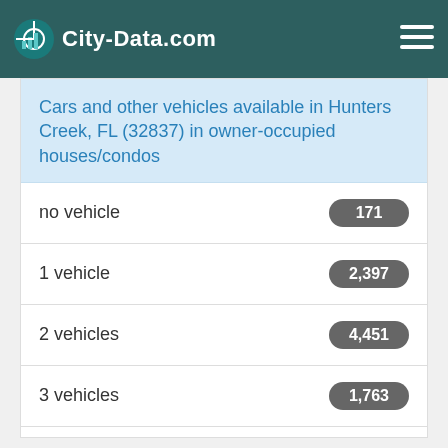City-Data.com
Cars and other vehicles available in Hunters Creek, FL (32837) in owner-occupied houses/condos
| Category | Count |
| --- | --- |
| no vehicle | 171 |
| 1 vehicle | 2,397 |
| 2 vehicles | 4,451 |
| 3 vehicles | 1,763 |
| 4 vehicles | 702 |
| 5+ vehicles | 65 |